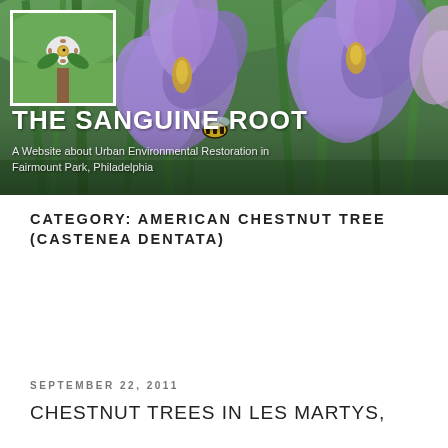[Figure (photo): Header banner showing purple iris flowers with green stems and leaves in background; small thumbnail of white flower with green leaves in upper left corner]
THE SANGUINE ROOT
A Website about Urban Environmental Restoration in Fairmount Park, Philadelphia
CATEGORY: AMERICAN CHESTNUT TREE (CASTENEA DENTATA)
[Figure (other): Blue button with person icon labeled 'My Page']
SEPTEMBER 22, 2011
CHESTNUT TREES IN LES MARTYS,